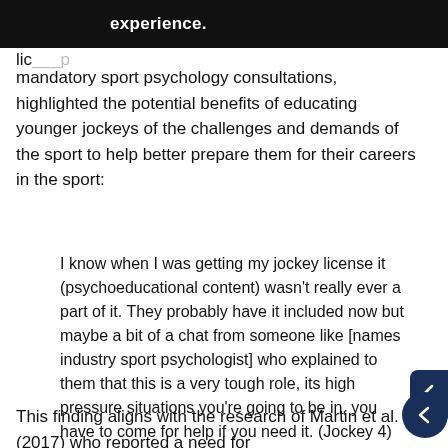experience.
lic [partial text cut off] mandatory sport psychology consultations, highlighted the potential benefits of educating younger jockeys of the challenges and demands of the sport to help better prepare them for their careers in the sport:
I know when I was getting my jockey license it (psychoeducational content) wasn't really ever a part of it. They probably have it included now but maybe a bit of a chat from someone like [names industry sport psychologist] who explained to them that this is a very tough role, its high pressure situations you're going to be in, you have to come for help if you need it. (Jockey 4)
This finding aligns with the research of Martin et al. (2017) who reported a need for